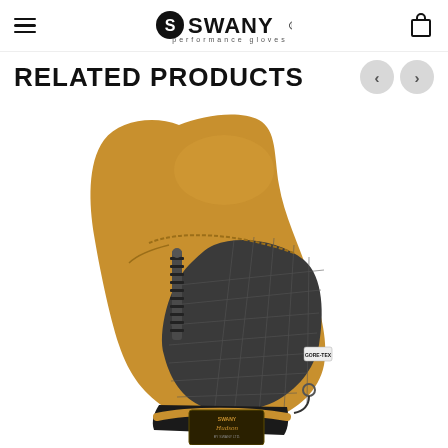Swany performance gloves — navigation header with hamburger menu and cart icon
RELATED PRODUCTS
[Figure (photo): A Swany Hudson ski/snowboard mitten in tan/caramel leather on the top and thumb with black quilted textile on the palm side, featuring a zipper pocket on the back, GORE-TEX branding, Swany logo patch on the wrist strap, and a black wrist closure strap. The mitten is photographed against a white background.]